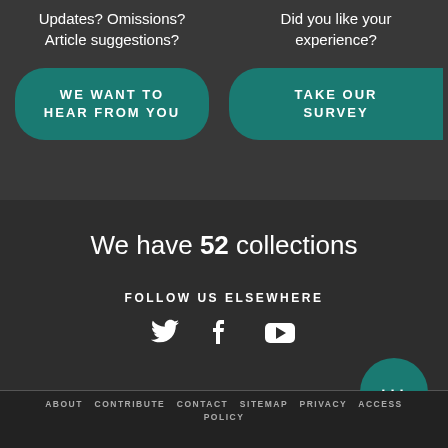Updates? Omissions? Article suggestions?
Did you like your experience?
WE WANT TO HEAR FROM YOU
TAKE OUR SURVEY
We have 52 collections
FOLLOW US ELSEWHERE
[Figure (infographic): Teal circle button with three dots (ellipsis)]
ABOUT CONTRIBUTE CONTACT SITEMAP PRIVACY ACCESS POLICY